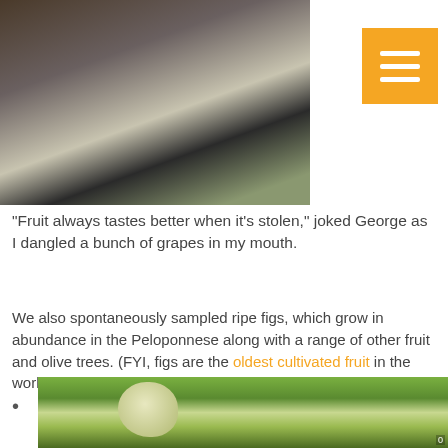[Figure (photo): Photo of a person in dark top and white pants standing outdoors near a vehicle]
[Figure (other): Orange hamburger menu button with three white horizontal lines]
“Fruit always tastes better when it’s stolen,” joked George as I dangled a bunch of grapes in my mouth.
We also spontaneously sampled ripe figs, which grow in abundance in the Peloponnese along with a range of other fruit and olive trees. (FYI, figs are the oldest cultivated fruit in the world, dating back more than 11,000 years!)
[Figure (photo): Close-up photo of a green and pale yellow fig or eggplant fruit among green leaves]